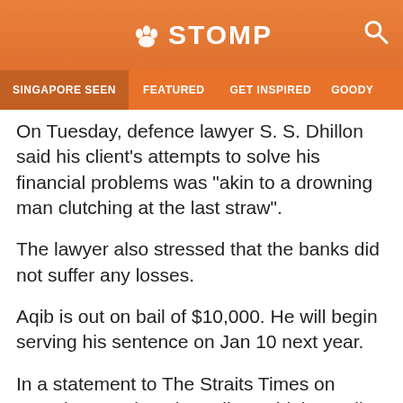STOMP
SINGAPORE SEEN | FEATURED | GET INSPIRED | GOODY
On Tuesday, defence lawyer S. S. Dhillon said his client's attempts to solve his financial problems was "akin to a drowning man clutching at the last straw".
The lawyer also stressed that the banks did not suffer any losses.
Aqib is out on bail of $10,000. He will begin serving his sentence on Jan 10 next year.
In a statement to The Straits Times on Tuesday evening, the police said that Aqib is a staff sergeant and he has been suspended from service since Jul 17 this year.
Their spokesman added: "Officers of the Singapore